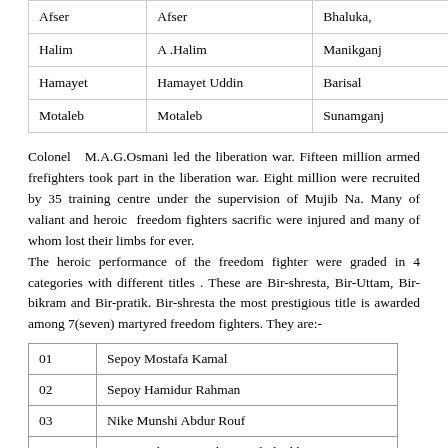|  |  |  |
| --- | --- | --- |
| Afser | Afser | Bhaluka, |
| Halim | A .Halim | Manikganj |
| Hamayet | Hamayet Uddin | Barisal |
| Motaleb | Motaleb | Sunamganj |
Colonel M.A.G.Osmani led the liberation war. Fifteen million armed freedom fighters took part in the liberation war. Eight million were recruited by 35 training centre under the supervision of Mujib Nagar. Many of valiant and heroic freedom fighters sacrificed their lives, many were injured and many of whom lost their limbs for ever.
The heroic performance of the freedom fighter were graded in 4 categories with different titles . These are Bir-shresta, Bir-Uttam, Bir-bikram and Bir-pratik. Bir-shresta the most prestigious title is awarded among 7(seven) martyred freedom fighters. They are:-
| 01 | Sepoy Mostafa Kamal |
| 02 | Sepoy Hamidur Rahman |
| 03 | Nike Munshi Abdur Rouf |
| 04 | Lance Nike Nur Mohammed Sheikh |